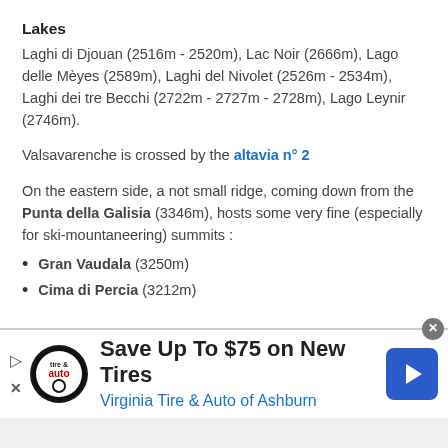Lakes
Laghi di Djouan (2516m - 2520m), Lac Noir (2666m), Lago delle Mèyes (2589m), Laghi del Nivolet (2526m - 2534m), Laghi dei tre Becchi (2722m - 2727m - 2728m), Lago Leynir (2746m).
Valsavarenche is crossed by the altavia n° 2
On the eastern side, a not small ridge, coming down from the Punta della Galisia (3346m), hosts some very fine (especially for ski-mountaneering) summits :
Gran Vaudala (3250m)
Cima di Percia (3212m)
[Figure (infographic): Advertisement banner: Virginia Tire & Auto - Save Up To $75 on New Tires, Virginia Tire & Auto of Ashburn]